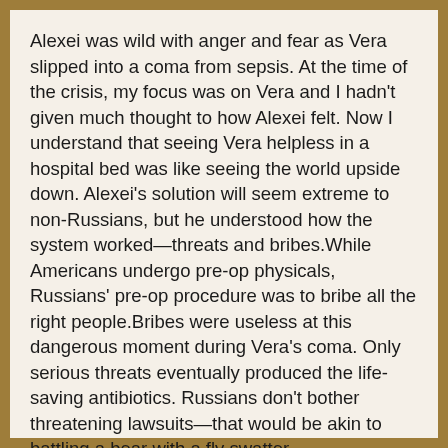Alexei was wild with anger and fear as Vera slipped into a coma from sepsis. At the time of the crisis, my focus was on Vera and I hadn't given much thought to how Alexei felt. Now I understand that seeing Vera helpless in a hospital bed was like seeing the world upside down. Alexei's solution will seem extreme to non-Russians, but he understood how the system worked—threats and bribes.While Americans undergo pre-op physicals, Russians' pre-op procedure was to bribe all the right people.Bribes were useless at this dangerous moment during Vera's coma. Only serious threats eventually produced the life-saving antibiotics. Russians don't bother threatening lawsuits—that would be akin to battling a bear with a fly swatter.
When those we love are hospitalized, we lose control and we're in the hands of strangers and